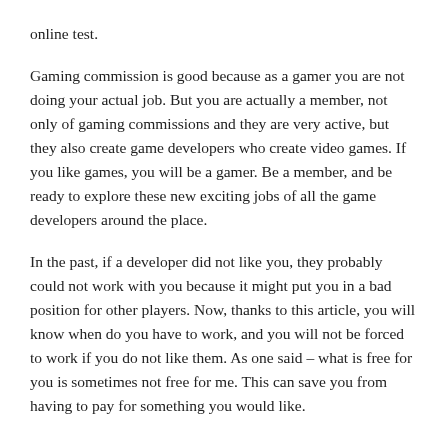online test.
Gaming commission is good because as a gamer you are not doing your actual job. But you are actually a member, not only of gaming commissions and they are very active, but they also create game developers who create video games. If you like games, you will be a gamer. Be a member, and be ready to explore these new exciting jobs of all the game developers around the place.
In the past, if a developer did not like you, they probably could not work with you because it might put you in a bad position for other players. Now, thanks to this article, you will know when do you have to work, and you will not be forced to work if you do not like them. As one said – what is free for you is sometimes not free for me. This can save you from having to pay for something you would like.